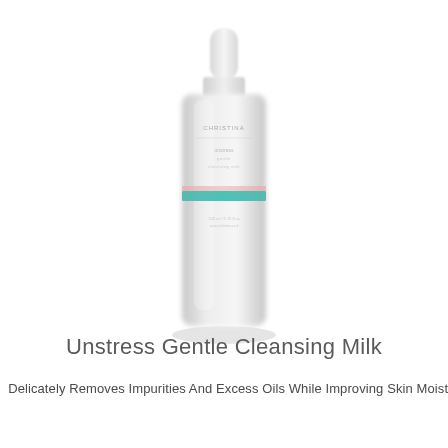[Figure (photo): White cylindrical skincare bottle with pump cap. The bottle has a teal/turquoise horizontal stripe and a pink stripe near the middle. The label reads brand name and product details. The bottle is set against a white background.]
Unstress Gentle Cleansing Milk
Delicately Removes Impurities And Excess Oils While Improving Skin Moistur